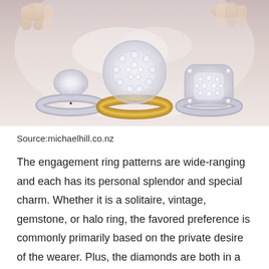[Figure (photo): Three diamond engagement rings displayed against a soft background with hands. Left: a solitaire diamond ring with white gold band. Center: a round halo cluster ring with yellow gold band. Right: a cushion halo diamond ring with white gold band.]
Source:michaelhill.co.nz
The engagement ring patterns are wide-ranging and each has its personal splendor and special charm. Whether it is a solitaire, vintage, gemstone, or halo ring, the favored preference is commonly primarily based on the private desire of the wearer. Plus, the diamonds are both in a setup or nestled role to assist spotlight the